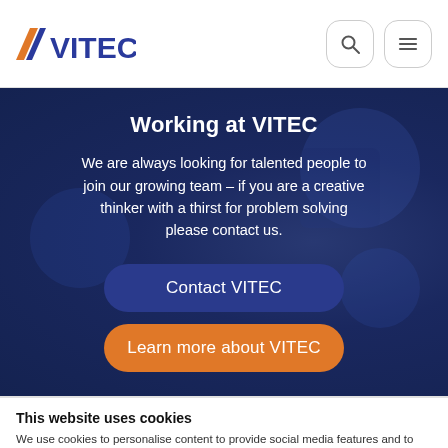VITEC
Working at VITEC
We are always looking for talented people to join our growing team – if you are a creative thinker with a thirst for problem solving please contact us.
Contact VITEC
Learn more about VITEC
This website uses cookies
We use cookies to personalise content to provide social media features and to analyse our traffic. We also share information about your use of our site with our social media, advertising and analytics partners who may combine it